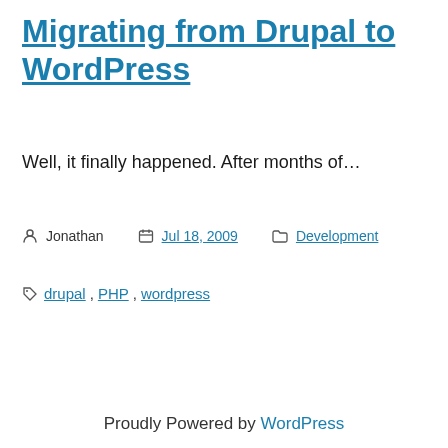Migrating from Drupal to WordPress
Well, it finally happened. After months of…
Post Author: Jonathan  Date: Jul 18, 2009  Category: Development
Tags: drupal, PHP, wordpress
Proudly Powered by WordPress